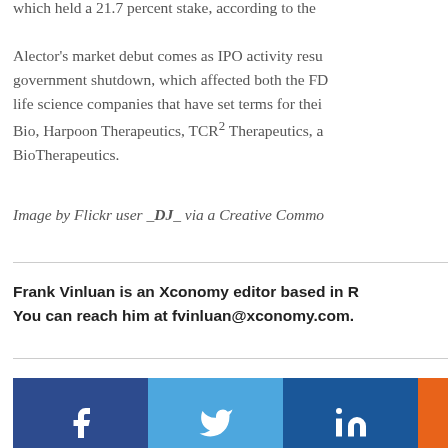which held a 21.7 percent stake, according to the… Alector's market debut comes as IPO activity resu… government shutdown, which affected both the FD… life science companies that have set terms for thei… Bio, Harpoon Therapeutics, TCR² Therapeutics, a… BioTherapeutics.
Image by Flickr user _DJ_ via a Creative Commo…
Frank Vinluan is an Xconomy editor based in R… You can reach him at fvinluan@xconomy.com.
[Figure (infographic): Social share buttons: Facebook (dark blue), Twitter (light blue), LinkedIn (dark blue), and one more button (orange)]